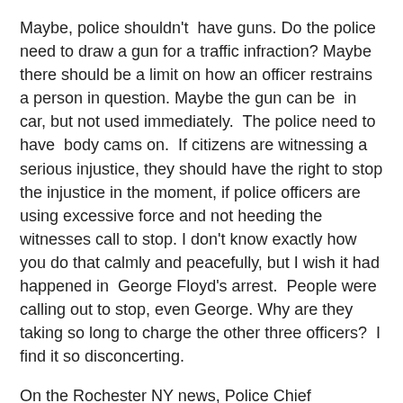Maybe, police shouldn't  have guns. Do the police need to draw a gun for a traffic infraction? Maybe there should be a limit on how an officer restrains a person in question. Maybe the gun can be  in car, but not used immediately.  The police need to have  body cams on.  If citizens are witnessing a serious injustice, they should have the right to stop the injustice in the moment, if police officers are using excessive force and not heeding the witnesses call to stop. I don't know exactly how you do that calmly and peacefully, but I wish it had happened in  George Floyd's arrest.  People were calling out to stop, even George. Why are they taking so long to charge the other three officers?  I find it so disconcerting.
On the Rochester NY news, Police Chief Singletary spoke eloquently to the crowd and us. I recognized him, and I knew by his body language and as an African American  he was heavy-hearted, but he had his hands open in his gesture, not closed fists, and I thought, here is a strong leader. Of course, the people, who were organizing the peaceful protest, were seen by others as an opportunity to create havoc and loot and destroy-- all of this has been happening in the cities, to what we all witnessed not so long...